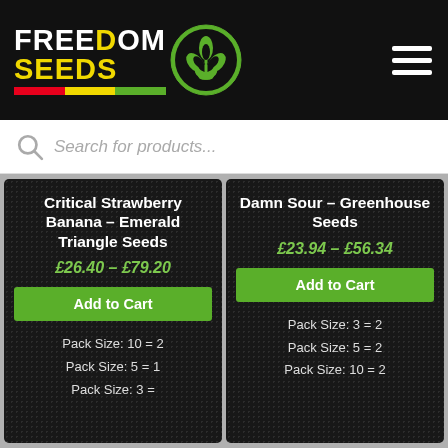[Figure (logo): Freedom Seeds logo with yellow text and cannabis leaf badge on black header with hamburger menu icon]
Search for products...
Critical Strawberry Banana – Emerald Triangle Seeds
£26.40 – £79.20
Add to Cart
Pack Size: 10 = 2
Pack Size: 5 = 1
Pack Size: 3 =
Damn Sour – Greenhouse Seeds
£23.94 – £56.34
Add to Cart
Pack Size: 3 = 2
Pack Size: 5 = 2
Pack Size: 10 = 2